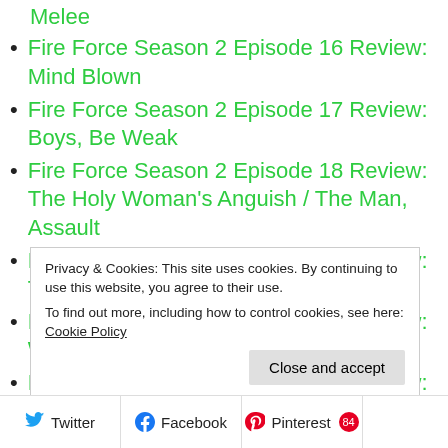Melee
Fire Force Season 2 Episode 16 Review: Mind Blown
Fire Force Season 2 Episode 17 Review: Boys, Be Weak
Fire Force Season 2 Episode 18 Review: The Holy Woman's Anguish / The Man, Assault
Fire Force Season 2 Episode 19 Review: The Oze Family
Fire Force Season 2 Episode 20 Review: Weapon of Destruction
Fire Force Season 2 Episode 21 Review: Enemy Contact
Fire Force Season 2 Episode 22 Review: Plot for Extinction
Privacy & Cookies: This site uses cookies. By continuing to use this website, you agree to their use. To find out more, including how to control cookies, see here: Cookie Policy
Close and accept
Twitter Facebook Pinterest 84